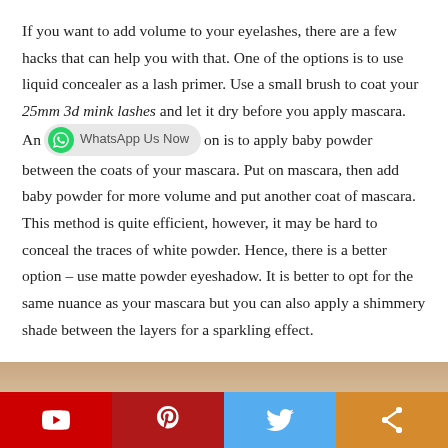If you want to add volume to your eyelashes, there are a few hacks that can help you with that. One of the options is to use liquid concealer as a lash primer. Use a small brush to coat your 25mm 3d mink lashes and let it dry before you apply mascara. Another option is to apply baby powder between the coats of your mascara. Put on mascara, then add baby powder for more volume and put another coat of mascara. This method is quite efficient, however, it may be hard to conceal the traces of white powder. Hence, there is a better option – use matte powder eyeshadow. It is better to opt for the same nuance as your mascara but you can also apply a shimmery shade between the layers for a sparkling effect.
[Figure (photo): Partial view of a person's face/eye area, cropped at the bottom of the page]
[Figure (infographic): Social media share bar at bottom: YouTube (red), Pinterest (dark red), Twitter (blue), Share (orange)]